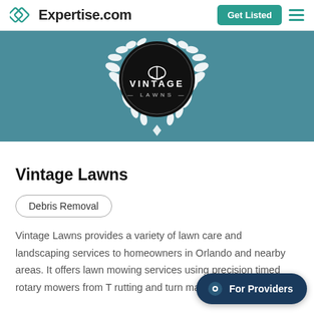Expertise.com
[Figure (logo): Vintage Lawns logo — black circular badge with laurel wreath, white text 'VINTAGE LAWNS', on teal banner background]
Vintage Lawns
Debris Removal
Vintage Lawns provides a variety of lawn care and landscaping services to homeowners in Orlando and nearby areas. It offers lawn mowing services using precision timed rotary mowers from T... rutting and turn marks. Its team mem...